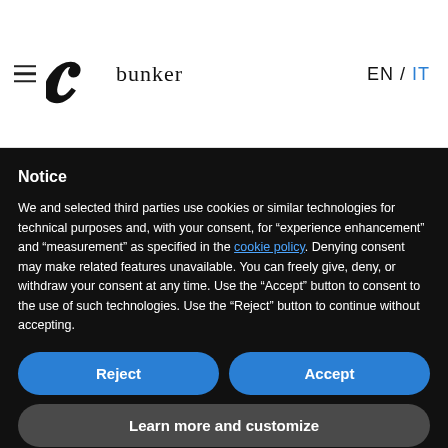bunker EN / IT
Notice
We and selected third parties use cookies or similar technologies for technical purposes and, with your consent, for “experience enhancement” and “measurement” as specified in the cookie policy. Denying consent may make related features unavailable. You can freely give, deny, or withdraw your consent at any time. Use the “Accept” button to consent to the use of such technologies. Use the “Reject” button to continue without accepting.
Reject
Accept
Learn more and customize